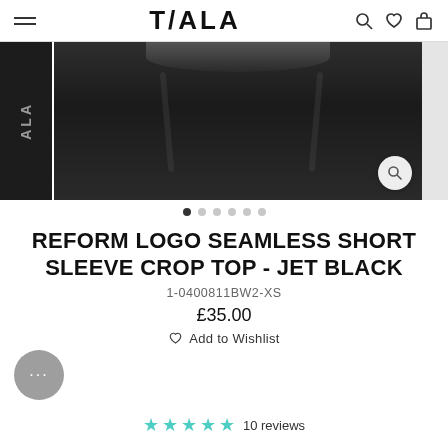TALA
[Figure (photo): A person wearing black leggings/athletic wear, cropped view showing waist and legs. Three panel image strip with main center image and partial side thumbnails.]
REFORM LOGO SEAMLESS SHORT SLEEVE CROP TOP - JET BLACK
1-0400811BW2-XS
£35.00
Add to Wishlist
10 reviews